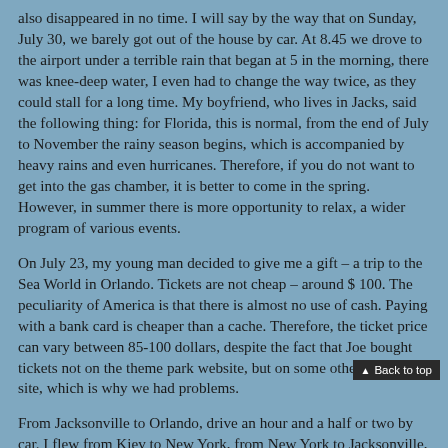also disappeared in no time. I will say by the way that on Sunday, July 30, we barely got out of the house by car. At 8.45 we drove to the airport under a terrible rain that began at 5 in the morning, there was knee-deep water, I even had to change the way twice, as they could stall for a long time. My boyfriend, who lives in Jacks, said the following thing: for Florida, this is normal, from the end of July to November the rainy season begins, which is accompanied by heavy rains and even hurricanes. Therefore, if you do not want to get into the gas chamber, it is better to come in the spring. However, in summer there is more opportunity to relax, a wider program of various events.
On July 23, my young man decided to give me a gift – a trip to the Sea World in Orlando. Tickets are not cheap – around $ 100. The peculiarity of America is that there is almost no use of cash. Paying with a bank card is cheaper than a cache. Therefore, the ticket price can vary between 85-100 dollars, despite the fact that Joe bought tickets not on the theme park website, but on some other tourist site, which is why we had problems.
From Jacksonville to Orlando, drive an hour and a half or two by car. I flew from Kiev to New York, from New York to Jacksonville, to my friend. If you plan to just visit the theme park, then you can fly directly to Orlando. There are a lot of hotels at the parl is a place to stay. But you are unlikely to pay less than $ 150 a day. If you flew to Jacks, you can take the